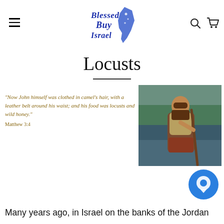Blessed Buy Israel — navigation header with logo, menu, search, and cart icons
Locusts
[Figure (photo): Photo of a biblical figure (John the Baptist) standing in water holding a staff, wearing brown robes, with green trees in background]
"Now John himself was clothed in camel's hair, with a leather belt around his waist; and his food was locusts and wild honey." Matthew 3:4
[Figure (other): Blue circular chat/messaging button icon]
Many years ago, in Israel on the banks of the Jordan